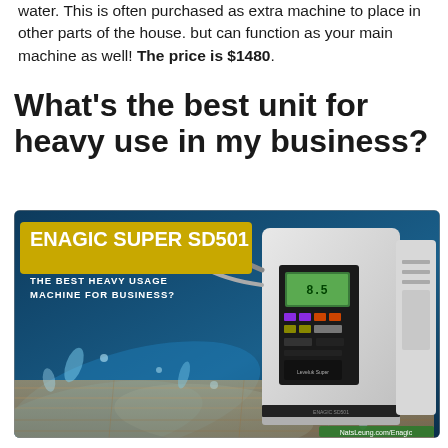water. This is often purchased as extra machine to place in other parts of the house. but can function as your main machine as well! The price is $1480.
What's the best unit for heavy use in my business?
[Figure (photo): Promotional image for the Enagic Super SD501 water ionizer machine. Blue background with water splash and wooden floor. Text reads 'ENAGIC SUPER SD501 - THE BEST HEAVY USAGE MACHINE FOR BUSINESS?' alongside an image of the SD501 machine. Attribution: NatsLeung.com/Enagic]